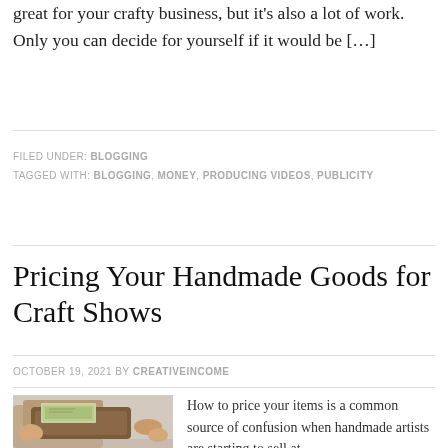great for your crafty business, but it's also a lot of work. Only you can decide for yourself if it would be […]
FILED UNDER: BLOGGING
TAGGED WITH: BLOGGING, MONEY, PRODUCING VIDEOS, PUBLICITY
Pricing Your Handmade Goods for Craft Shows
OCTOBER 19, 2021 BY CREATIVEINCOME
[Figure (photo): Hands holding a wallet with US dollar bills]
How to price your items is a common source of confusion when handmade artists are starting to sell at